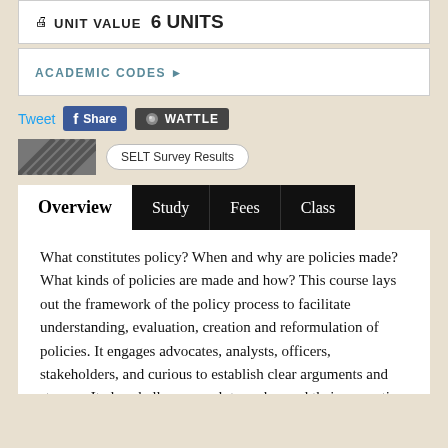UNIT VALUE  6 units
ACADEMIC CODES ▶
Tweet  Share  WATTLE
[Figure (logo): Diagonal striped logo image]
SELT Survey Results
Overview  Study  Fees  Class
What constitutes policy? When and why are policies made? What kinds of policies are made and how? This course lays out the framework of the policy process to facilitate understanding, evaluation, creation and reformulation of policies. It engages advocates, analysts, officers, stakeholders, and curious to establish clear arguments and stances. It also challenges each to go beyond their respective comfort zones to explore,